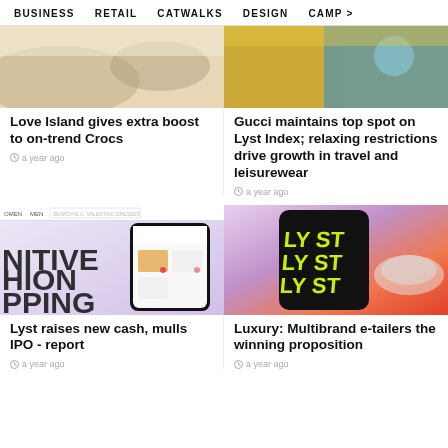BUSINESS   RETAIL   CATWALKS   DESIGN   CAMP >
[Figure (photo): Partial top image of Crocs shoes article]
Love Island gives extra boost to on-trend Crocs
a year ago
[Figure (photo): Partial top image of Gucci/Lyst Index article with colorful background]
Gucci maintains top spot on Lyst Index; relaxing restrictions drive growth in travel and leisurewear
a year ago
[Figure (photo): Screenshot of a fashion shopping app with phone mockup, text reading NITIVE HION PPING]
Lyst raises new cash, mulls IPO - report
a year ago
[Figure (photo): Phone case with LYST logo repeated in neon yellow-green on black background]
Luxury: Multibrand e-tailers the winning proposition
a year ago